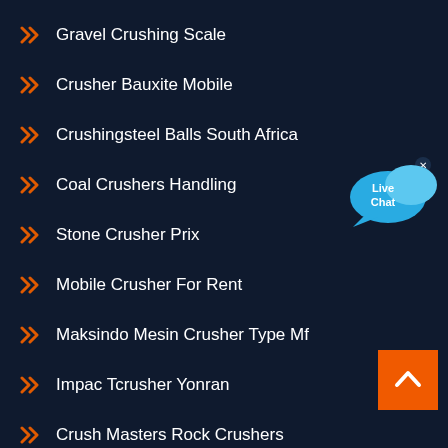Gravel Crushing Scale
Crusher Bauxite Mobile
Crushingsteel Balls South Africa
Coal Crushers Handling
Stone Crusher Prix
Mobile Crusher For Rent
Maksindo Mesin Crusher Type Mf
Impac Tcrusher Yonran
Crush Masters Rock Crushers
Manufactured Sand Making Equipment
[Figure (illustration): Live Chat speech bubble widget with blue color and 'Live Chat' text]
[Figure (illustration): Orange back-to-top button with white chevron/caret arrow]